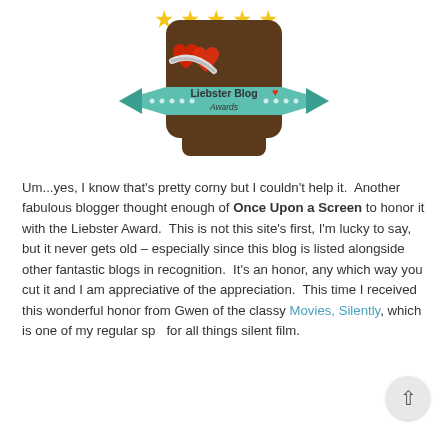[Figure (logo): Liebster Blog Awards badge: brown rounded square with red hearts and silver ribbon, five gold stars on top, teal banner reading 'Liebster Blog Awards' with a heart icon and decorative dots]
Um...yes, I know that's pretty corny but I couldn't help it. Another fabulous blogger thought enough of Once Upon a Screen to honor it with the Liebster Award. This is not this site's first, I'm lucky to say, but it never gets old – especially since this blog is listed alongside other fantastic blogs in recognition. It's an honor, any which way you cut it and I am appreciative of the appreciation. This time I received this wonderful honor from Gwen of the classy Movies, Silently, which is one of my regular sp... for all things silent film.